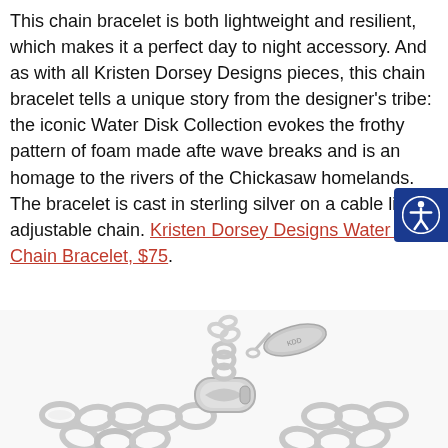This chain bracelet is both lightweight and resilient, which makes it a perfect day to night accessory. And as with all Kristen Dorsey Designs pieces, this chain bracelet tells a unique story from the designer's tribe: the iconic Water Disk Collection evokes the frothy pattern of foam made afte wave breaks and is an homage to the rivers of the Chickasaw homelands. The bracelet is cast in sterling silver on a cable link adjustable chain. Kristen Dorsey Designs Water Disk Chain Bracelet, $75.
[Figure (photo): Close-up photo of a sterling silver cable link chain bracelet with lobster claw clasp and an oval brand tag, viewed from above on a white background.]